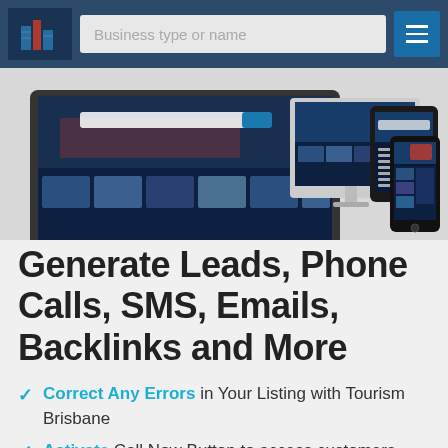Business type or name
[Figure (screenshot): Website screenshot showing responsive design across laptop, desktop monitor, tablet and mobile phone devices displaying a tourism/travel website]
Generate Leads, Phone Calls, SMS, Emails, Backlinks and More
Correct Any Errors in Your Listing with Tourism Brisbane
Activate Call Now Button to access customers calls
Activate Visit Website Button for unlimited Traffic